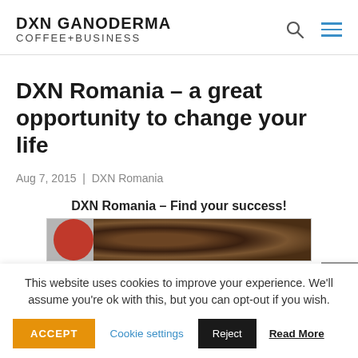DXN GANODERMA COFFEE+BUSINESS
DXN Romania – a great opportunity to change your life
Aug 7, 2015 | DXN Romania
[Figure (illustration): DXN Romania – Find your success! Banner with red circle and coffee beans image]
This website uses cookies to improve your experience. We'll assume you're ok with this, but you can opt-out if you wish.
ACCEPT | Cookie settings | Reject | Read More